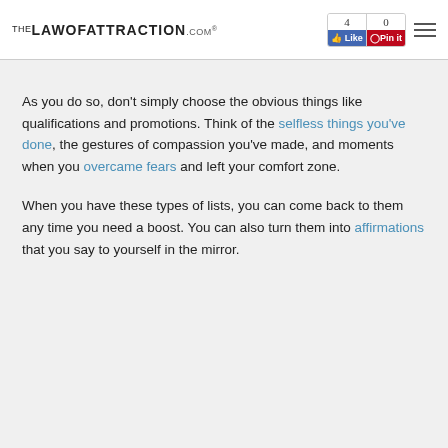TheLawOfAttraction.com — Like 4, Pin it 0
As you do so, don't simply choose the obvious things like qualifications and promotions. Think of the selfless things you've done, the gestures of compassion you've made, and moments when you overcame fears and left your comfort zone.
When you have these types of lists, you can come back to them any time you need a boost. You can also turn them into affirmations that you say to yourself in the mirror.